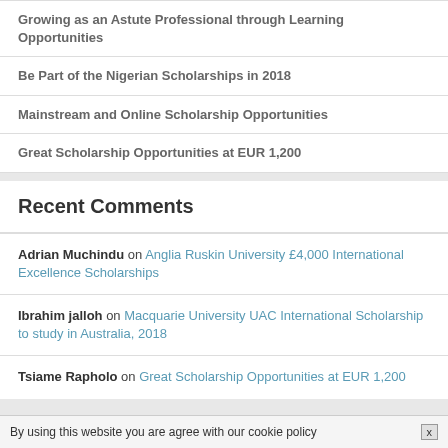Growing as an Astute Professional through Learning Opportunities
Be Part of the Nigerian Scholarships in 2018
Mainstream and Online Scholarship Opportunities
Great Scholarship Opportunities at EUR 1,200
Recent Comments
Adrian Muchindu on Anglia Ruskin University £4,000 International Excellence Scholarships
Ibrahim jalloh on Macquarie University UAC International Scholarship to study in Australia, 2018
Tsiame Rapholo on Great Scholarship Opportunities at EUR 1,200
By using this website you are agree with our cookie policy  x